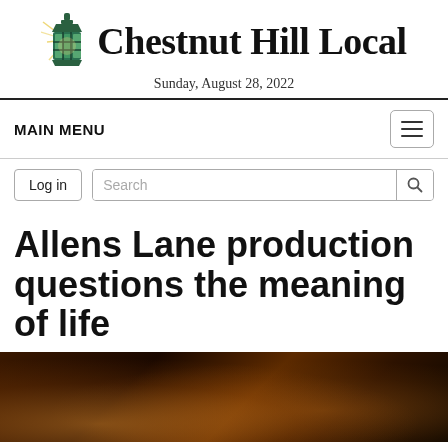Chestnut Hill Local — Sunday, August 28, 2022
MAIN MENU
Allens Lane production questions the meaning of life
[Figure (photo): Dark theatrical photo showing two performers in warm amber stage lighting against a black background]